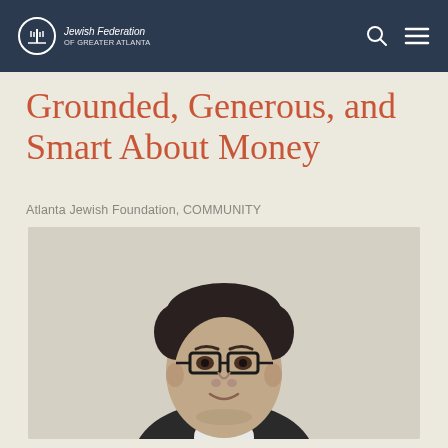Jewish Federation of Greater Atlanta
Grounded, Generous, and Smart About Money
Atlanta Jewish Foundation, COMMUNITY
[Figure (photo): Black and white portrait photo of a man with curly hair, glasses, and a slight smile, wearing a dark jacket and white shirt.]